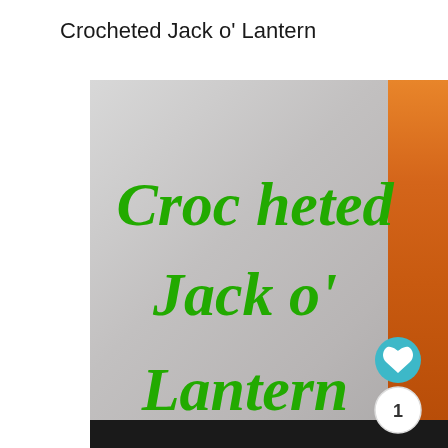Crocheted Jack o' Lantern
[Figure (photo): A crafts/DIY blog post thumbnail showing a crocheted Jack o' Lantern. The image has a gray gradient background with an orange crocheted pumpkin on the right side. Large green bold italic text reads 'Crocheted Jack o' Lantern' overlaid on the image. A teal heart button and a white circle with '1' are visible in the lower right corner. A black bar runs along the bottom.]